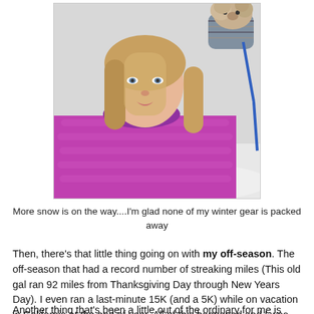[Figure (photo): Woman in a magenta/pink puffer jacket in snowy conditions, with a small dog wearing a knitted sweater on a blue leash visible in the upper right corner.]
More snow is on the way....I'm glad none of my winter gear is packed away
Then, there's that little thing going on with my off-season. The off-season that had a record number of streaking miles (This old gal ran 92 miles from Thanksgiving Day through New Years Day). I even ran a last-minute 15K (and a 5K) while on vacation in California at the end of year. All of this happened and I was able to maintain my injury-free status!! My priority has been to remain injury-free...so far, so good!
Another thing that's been a little out of the ordinary for me is